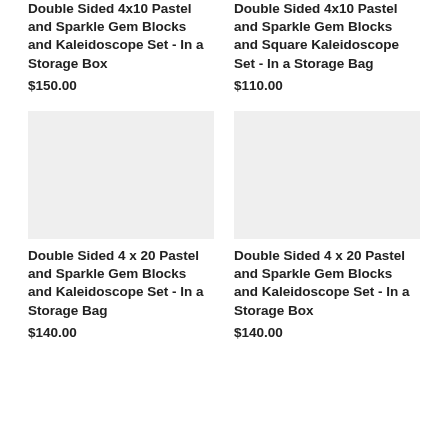Double Sided 4x10 Pastel and Sparkle Gem Blocks and Kaleidoscope Set - In a Storage Box
$150.00
Double Sided 4x10 Pastel and Sparkle Gem Blocks and Square Kaleidoscope Set - In a Storage Bag
$110.00
[Figure (photo): Product image placeholder - light gray rectangle]
Double Sided 4 x 20 Pastel and Sparkle Gem Blocks and Kaleidoscope Set - In a Storage Bag
$140.00
[Figure (photo): Product image placeholder - light gray rectangle]
Double Sided 4 x 20 Pastel and Sparkle Gem Blocks and Kaleidoscope Set - In a Storage Box
$140.00